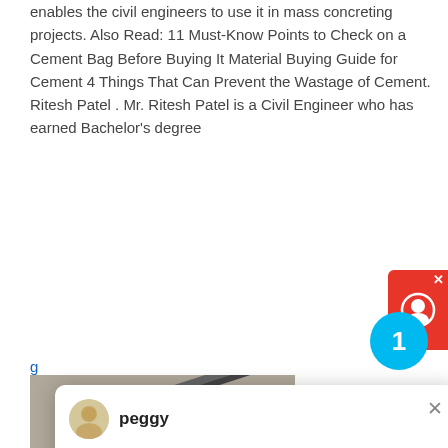enables the civil engineers to use it in mass concreting projects. Also Read: 11 Must-Know Points to Check on a Cement Bag Before Buying It Material Buying Guide for Cement 4 Things That Can Prevent the Wastage of Cement. Ritesh Patel . Mr. Ritesh Patel is a Civil Engineer who has earned Bachelor's degree
[Figure (screenshot): Chat popup from 'peggy' saying: Welcome, please choose: 1.English 2.Русский 3.Français 4.Español 5.bahasa Indonesia 6.عربی with a close (x) button]
[Figure (photo): Industrial machinery/mining equipment on a construction or quarry site, with dust in the background]
Pozzolan
The contribution of the pozzolanic reaction to cement strength